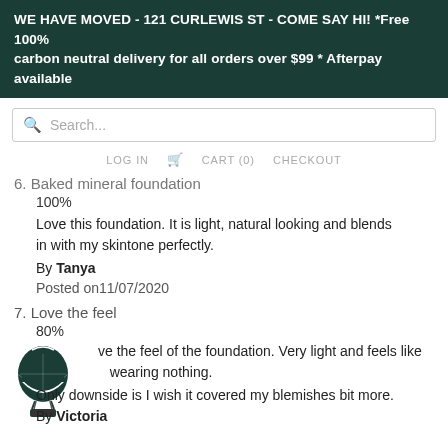WE HAVE MOVED - 121 CURLEWIS ST - COME SAY HI! *Free 100% carbon neutral delivery for all orders over $99 * Afterpay available
Search...
LOG IN  CART (0)  CHECKOUT
6. Baked mineral foundation
100%
Love this foundation. It is light, natural looking and blends in with my skintone perfectly.
By Tanya
Posted on11/07/2020
7. Love the feel
80%
Love the feel of the foundation. Very light and feels like wearing nothing.
Only downside is I wish it covered my blemishes bit more.
By Victoria